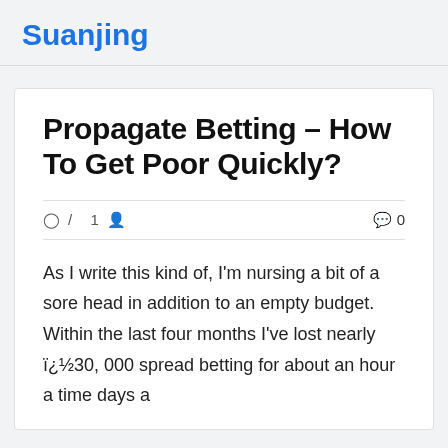Suanjing
Propagate Betting – How To Get Poor Quickly?
© /  1  🧑  💬 0
As I write this kind of, I'm nursing a bit of a sore head in addition to an empty budget. Within the last four months I've lost nearly ï¿½30, 000 spread betting for about an hour a time days a